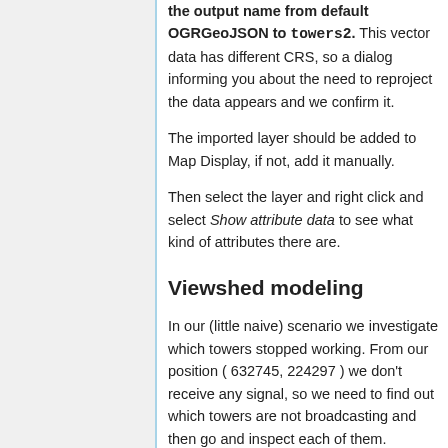the output name from default OGRGeoJSON to towers2. This vector data has different CRS, so a dialog informing you about the need to reproject the data appears and we confirm it.
The imported layer should be added to Map Display, if not, add it manually.
Then select the layer and right click and select Show attribute data to see what kind of attributes there are.
Viewshed modeling
In our (little naive) scenario we investigate which towers stopped working. From our position ( 632745, 224297 ) we don't receive any signal, so we need to find out which towers are not broadcasting and then go and inspect each of them.